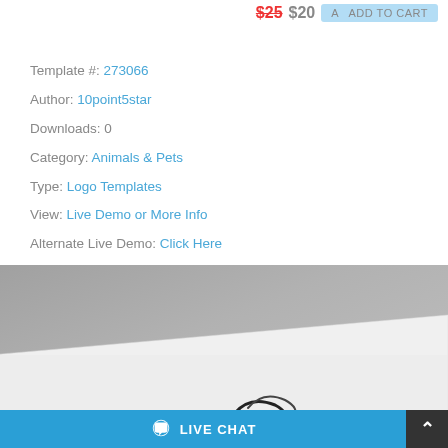Template #: 273066
Author: 10point5star
Downloads: 0
Category: Animals & Pets
Type: Logo Templates
View: Live Demo or More Info
Alternate Live Demo: Click Here
[Figure (photo): A grayscale photo of a white textured paper/card on a marble surface, with a partial logo mark visible at the bottom featuring red and black curved lines.]